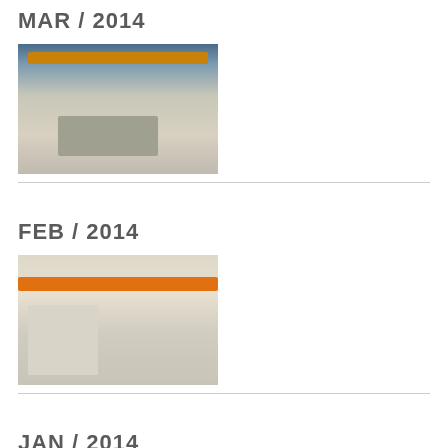MAR / 2014
[Figure (photo): Interior of an industrial/warehouse building with overhead crane beam, large windows at back, construction pit or ramp visible on floor]
FEB / 2014
[Figure (photo): Interior of industrial warehouse with orange overhead crane, shelving units on left, scissor lift on right, white walls and ceiling]
JAN / 2014